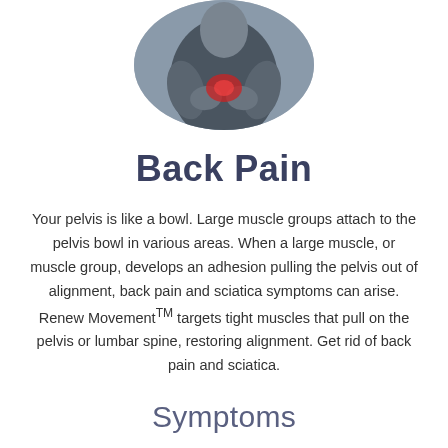[Figure (photo): Circular cropped photo of a person holding their lower back, with a red highlight on the painful area, suggesting back pain.]
Back Pain
Your pelvis is like a bowl. Large muscle groups attach to the pelvis bowl in various areas. When a large muscle, or muscle group, develops an adhesion pulling the pelvis out of alignment, back pain and sciatica symptoms can arise. Renew Movement™ targets tight muscles that pull on the pelvis or lumbar spine, restoring alignment. Get rid of back pain and sciatica.
Symptoms